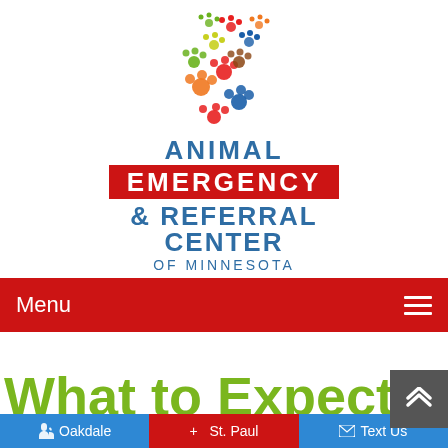[Figure (logo): Animal Emergency & Referral Center of Minnesota logo — colorful paw prints forming the state of Minnesota silhouette above stylized text reading ANIMAL EMERGENCY & REFERRAL CENTER OF MINNESOTA, with EMERGENCY on a red background banner]
Menu
What to Expect for Yo
Oakdale   +  St. Paul   Text Us